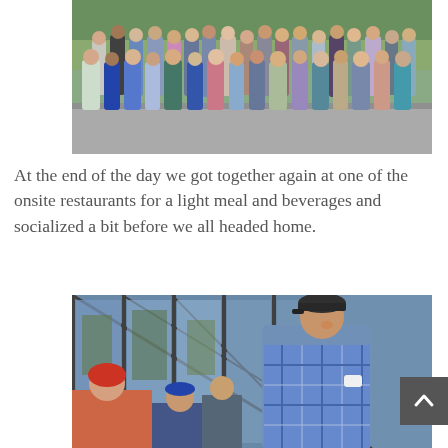[Figure (photo): Group photo of approximately 25 people standing together outdoors in a parking lot area, wearing name tags/lanyards, taken during a group outing.]
At the end of the day we got together again at one of the onsite restaurants for a light meal and beverages and socialized a bit before we all headed home.
[Figure (photo): A man wearing a blue plaid shirt and dark cap speaks to a group outdoors in front of a large glass-windowed building. A woman with red hair is visible in the lower left, and another person wearing a blue cap is partially visible.]